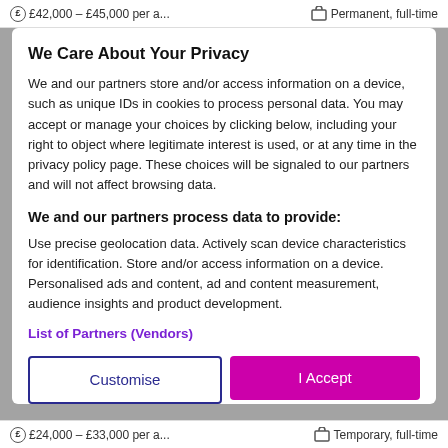£42,000 – £45,000 per a...   Permanent, full-time
We Care About Your Privacy
We and our partners store and/or access information on a device, such as unique IDs in cookies to process personal data. You may accept or manage your choices by clicking below, including your right to object where legitimate interest is used, or at any time in the privacy policy page. These choices will be signaled to our partners and will not affect browsing data.
We and our partners process data to provide:
Use precise geolocation data. Actively scan device characteristics for identification. Store and/or access information on a device. Personalised ads and content, ad and content measurement, audience insights and product development.
List of Partners (Vendors)
£24,000 – £33,000 per a...   Temporary, full-time